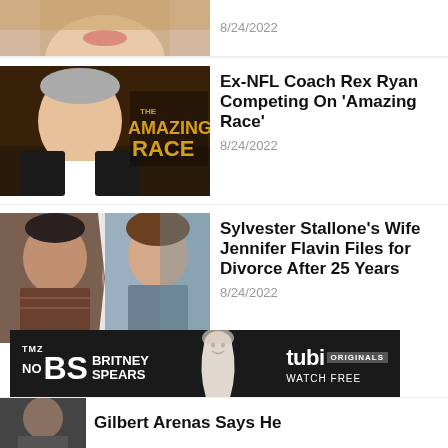[Figure (photo): Cropped photo of a blonde woman, partial view of face and hair]
8/24/2022
[Figure (photo): Ex-NFL Coach Rex Ryan smiling in front of The Amazing Race logo]
Ex-NFL Coach Rex Ryan Competing On 'Amazing Race'
8/24/2022
[Figure (photo): Sylvester Stallone and Jennifer Flavin separated by a crack/split graphic]
Sylvester Stallone's Wife Jennifer Flavin Files for Divorce After 25 Years
8/24/2022
[Figure (photo): TMZ No BS Britney Spears advertisement banner with tubi ORIGINALS WATCH FREE]
[Figure (photo): Cropped bottom strip showing a person and headline about Gilbert Arenas]
Gilbert Arenas Says He